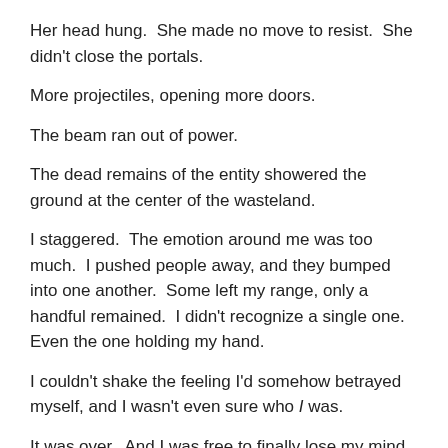Her head hung.  She made no move to resist.  She didn't close the portals.
More projectiles, opening more doors.
The beam ran out of power.
The dead remains of the entity showered the ground at the center of the wasteland.
I staggered.  The emotion around me was too much.  I pushed people away, and they bumped into one another.  Some left my range, only a handful remained.  I didn't recognize a single one.  Even the one holding my hand.
I couldn't shake the feeling I'd somehow betrayed myself, and I wasn't even sure who I was.
It was over.  And I was free to finally lose my mind.